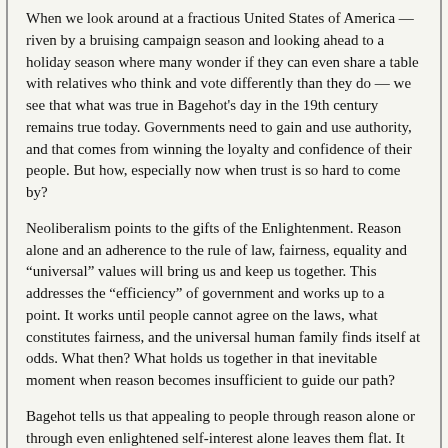When we look around at a fractious United States of America — riven by a bruising campaign season and looking ahead to a holiday season where many wonder if they can even share a table with relatives who think and vote differently than they do — we see that what was true in Bagehot's day in the 19th century remains true today. Governments need to gain and use authority, and that comes from winning the loyalty and confidence of their people. But how, especially now when trust is so hard to come by?
Neoliberalism points to the gifts of the Enlightenment. Reason alone and an adherence to the rule of law, fairness, equality and “universal” values will bring us and keep us together. This addresses the “efficiency” of government and works up to a point. It works until people cannot agree on the laws, what constitutes fairness, and the universal human family finds itself at odds. What then? What holds us together in that inevitable moment when reason becomes insufficient to guide our path?
Bagehot tells us that appealing to people through reason alone or through even enlightened self-interest alone leaves them flat. It fails to call them to be part of something bigger, more important, and more enduring than themselves. Reason alone does not make people willing to engage on anything greater than that of ordinary life.
All of the truly meaningful parts of life — love, sacrifice, honor, concern for others, tradition, patriotism — are mostly outside the realm of reason. But they are essential to